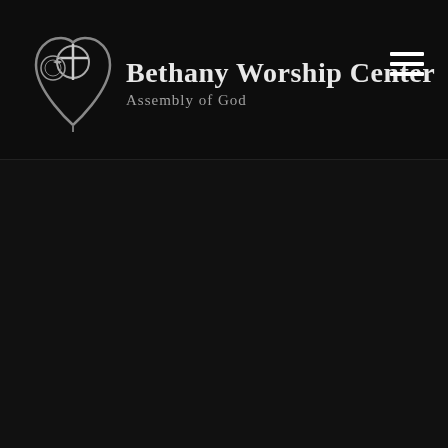[Figure (logo): Bethany Worship Center Assembly of God logo — a heart with a cross and dove symbol in silver/white, with text 'Bethany Worship Center' in white serif font and 'Assembly of God' in gray serif font below]
[Figure (other): Hamburger menu icon — three horizontal white bars stacked vertically, positioned in upper right corner of black header]